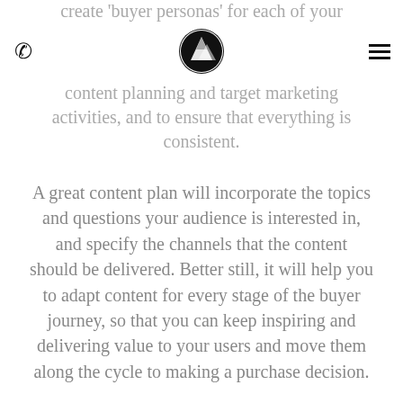☎ [logo] ☰
create 'buyer personas' for each of your audience types, since this will help your content planning and target marketing activities, and to ensure that everything is consistent.
A great content plan will incorporate the topics and questions your audience is interested in, and specify the channels that the content should be delivered. Better still, it will help you to adapt content for every stage of the buyer journey, so that you can keep inspiring and delivering value to your users and move them along the cycle to making a purchase decision.